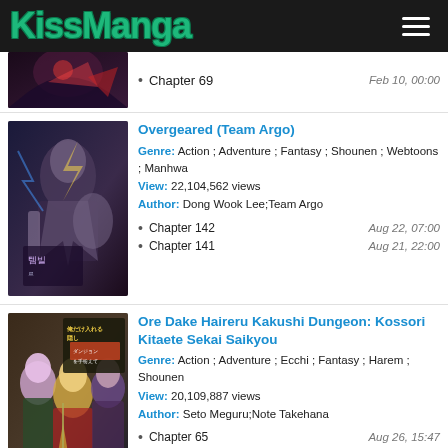KissManga
Chapter 69 — Feb 10, 00:00
Overgeared (Team Argo)
Genre: Action ; Adventure ; Fantasy ; Shounen ; Webtoons ; Manhwa
View: 22,104,562 views
Author: Dong Wook Lee;Team Argo
Chapter 142 — Aug 22, 07:00
Chapter 141 — Aug 21, 22:00
Ore Dake Haireru Kakushi Dungeon: Kossori Kitaete Sekai Saikyou
Genre: Action ; Adventure ; Ecchi ; Fantasy ; Harem ; Shounen
View: 20,109,887 views
Author: Seto Meguru;Note Takehana
Chapter 65 — Aug 26, 15:47
Chapter 64 — Apr 07, 22:30